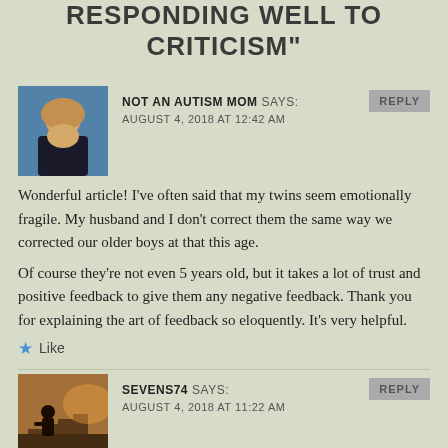RESPONDING WELL TO CRITICISM”
NOT AN AUTISM MOM SAYS:
AUGUST 4, 2018 AT 12:42 AM
Wonderful article! I’ve often said that my twins seem emotionally fragile. My husband and I don’t correct them the same way we corrected our older boys at that this age.
Of course they’re not even 5 years old, but it takes a lot of trust and positive feedback to give them any negative feedback. Thank you for explaining the art of feedback so eloquently. It’s very helpful.
★ Like
SEVENS74 SAYS:
AUGUST 4, 2018 AT 11:22 AM
The damage criticism can do.... I was torn apart by an art teacher at school who thought it a good idea to